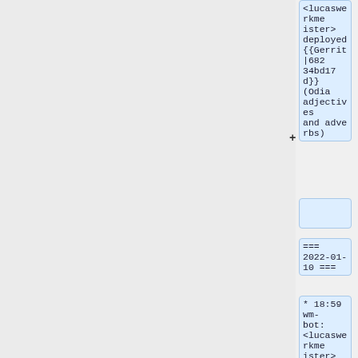<lucaswerkmeister> deployed {{Gerrit|68234bd17d}} (Odia adjectives and adverbs)
+
=== 2022-01-10 ===
* 18:59 wm-bot: <lucaswerkmeister> deployed {{Gerrit|d1da801731}} (l10n